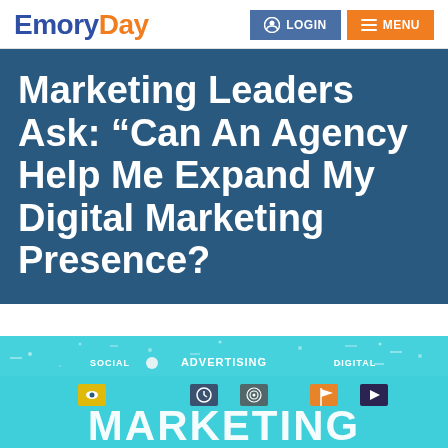EmoryDay — LOGIN — MENU
Marketing Leaders Ask: “Can An Agency Help Me Expand My Digital Marketing Presence?
[Figure (illustration): Digital marketing illustration with teal/cyan background showing icons and text labels: SOCIAL, ADVERTISING, DIGITAL, MARKETING in large white bold letters at bottom, with various marketing icons (eye, clock, target, flag, play button), and small decorative elements.]